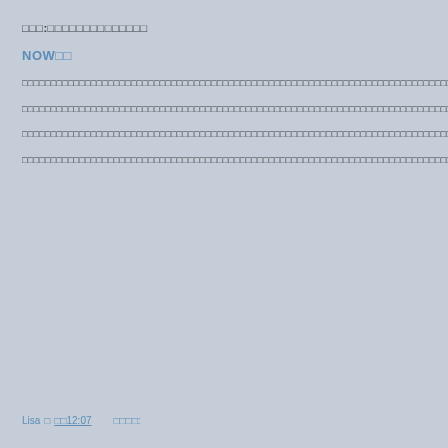□□□:□□□□□□□□□□□□□□
NOW□□
□□□□□□□□□□□□□□□□□□□□□□□□□□□□□□□□□□□□□□□□□□□□□□□□□□□□□□□□□□□□□□□□□□□□□□□□□□□□□□□□□□□□□□□□□□□□□□□□□□□□□□□□□□□□□□□□□□□□□□□□□□□□□□□□□□□□□□□□□□□□□□□□□□□
□□□□□□□□□□□□□□□□□□□□□□□□□□□□□□□□□□□□□□□□□□□□□□□□□□□□□□□□□□□□□□□□□□□□□□□□□□□□□□□□□□□□□□□□□□□□□□□□□□□□□□□□□□□□□□□□□□□□□□□□□□□□□□□□□□□□□□□□□□□□□□□□□□□□□□□□□□□□□□□□□□□□□□□□□□
□□□□□□□□□□□□□□□□□□□□□□□□□□□□□□□□□□□□□□□□□□□□□□□□□□□□□□□□□□□□□□□□□□□□□□□□□□□□□□□□□□□□□□□□□□□□□□□□□□□□□□□□□□□□□□□□□□□□□
□□□□□□□□□□□□□□□□□□□□□□□□□□□□□□□□□□□□□□□□□□□□□□□□□□□□□□□□□□□□□□□□□□□□□□□□□□□□□□□□□□□□□□□□□□□□□□□□□□□□□□□□□□□□□□□□□□□□□□□□□□□□□□□□□□□□□□□□□□□□□□□□10□□□□□□□□□□□
Lisa □ □□12:07      □□□□: